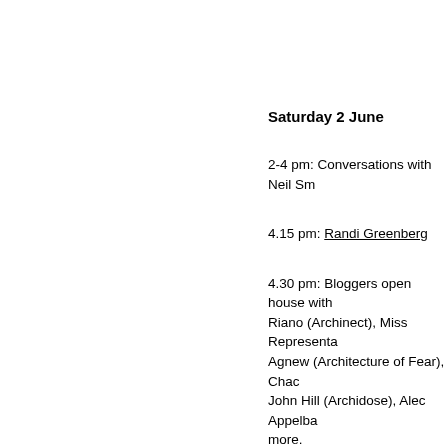Saturday 2 June
2-4 pm: Conversations with Neil Sm
4.15 pm: Randi Greenberg
4.30 pm: Bloggers open house with Riano (Archinect), Miss Representa Agnew (Architecture of Fear), Chac John Hill (Archidose), Alec Appelba more.